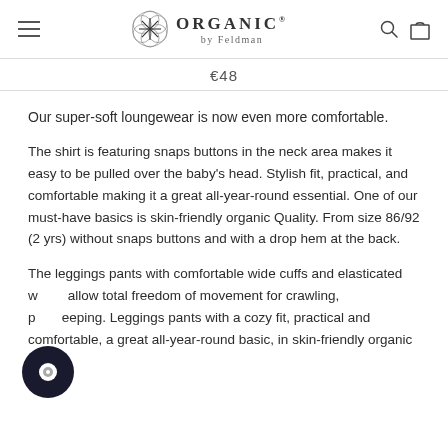ORGANIC by Feldman — navigation header with logo, hamburger menu, search and bag icons
€48
Our super-soft loungewear is now even more comfortable.
The shirt is featuring snaps buttons in the neck area makes it easy to be pulled over the baby's head. Stylish fit, practical, and comfortable making it a great all-year-round essential. One of our must-have basics is skin-friendly organic Quality. From size 86/92 (2 yrs) without snaps buttons and with a drop hem at the back.
The leggings pants with comfortable wide cuffs and elasticated w allow total freedom of movement for crawling, p eeping. Leggings pants with a cozy fit, practical and comfortable, a great all-year-round basic, in skin-friendly organic Quality.